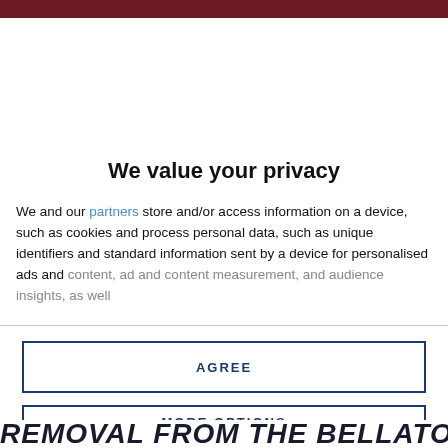We value your privacy
We and our partners store and/or access information on a device, such as cookies and process personal data, such as unique identifiers and standard information sent by a device for personalised ads and content, ad and content measurement, and audience insights, as well
AGREE
MORE OPTIONS
REMOVAL FROM THE BELLATOR 152